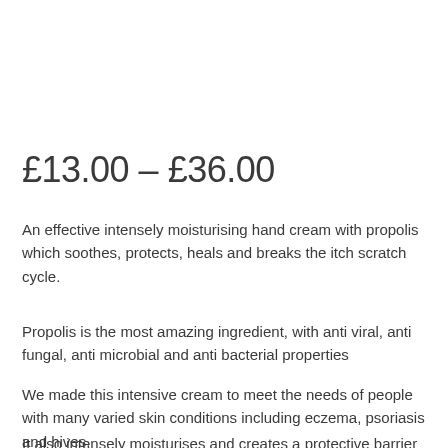£13.00 – £36.00
An effective intensely moisturising hand cream with propolis which soothes, protects, heals and breaks the itch scratch cycle.
Propolis is the most amazing ingredient, with anti viral, anti fungal, anti microbial and anti bacterial properties
We made this intensive cream to meet the needs of people with many varied skin conditions including eczema, psoriasis and hives.
It also intensely moisturises and creates a protective barrier